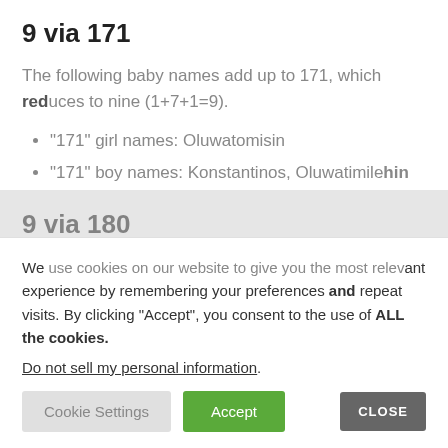9 via 171
The following baby names add up to 171, which reduces to nine (1+7+1=9).
“171” girl names: Oluwatomisin
“171” boy names: Konstantinos, Oluwatimilehin
9 via 180
The unisex name Kamsivochukwu adds up to 180.
We use cookies on our website to give you the most relevant experience by remembering your preferences and repeat visits. By clicking “Accept”, you consent to the use of ALL the cookies.
Do not sell my personal information.